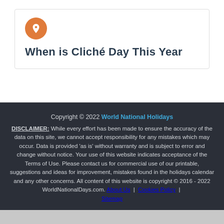When is Cliché Day This Year
Copyright © 2022 World National Holidays DISCLAIMER: While every effort has been made to ensure the accuracy of the data on this site, we cannot accept responsibility for any mistakes which may occur. Data is provided 'as is' without warranty and is subject to error and change without notice. Your use of this website indicates acceptance of the Terms of Use. Please contact us for commercial use of our printable, suggestions and ideas for improvement, mistakes found in the holidays calendar and any other concerns. All content of this website is copyright © 2016 - 2022 WorldNationalDays.com. About Us | Cookies Policy | Sitemap